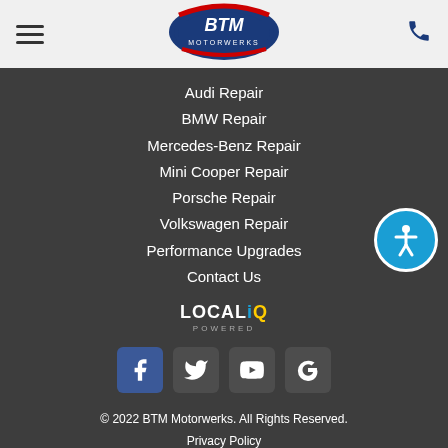[Figure (logo): BTM Motorwerks logo with blue and red design]
Audi Repair
BMW Repair
Mercedes-Benz Repair
Mini Cooper Repair
Porsche Repair
Volkswagen Repair
Performance Upgrades
Contact Us
[Figure (logo): LOCALiQ POWERED logo]
[Figure (infographic): Social media icons: Facebook, Twitter, YouTube, Google]
© 2022 BTM Motorwerks. All Rights Reserved.
Privacy Policy
Sitemap